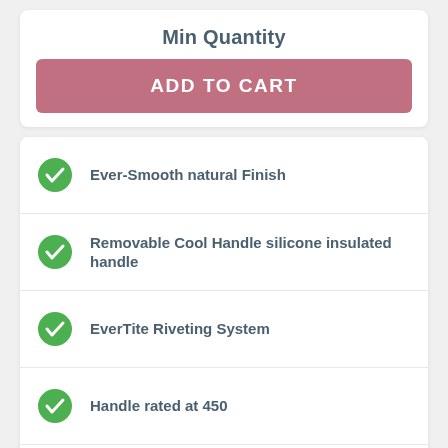Min Quantity
ADD TO CART
Ever-Smooth natural Finish
Removable Cool Handle silicone insulated handle
EverTite Riveting System
Handle rated at 450
8 gauge
NSF